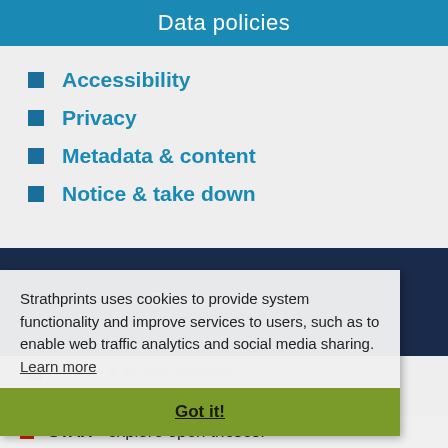Data policies
Accessibility
Privacy
Metadata & content
Notice & take down
Contact us & more
Library & Archive template
Strathprints enquiries
Twitter & Tumblr - follow us
STAX - explore open theses!
Strathprints uses cookies to provide system functionality and improve services to users, such as to enable web traffic analytics and social media sharing.  Learn more
Got it!